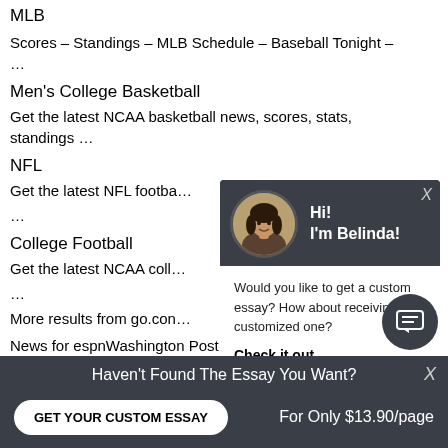MLB
Scores – Standings – MLB Schedule – Baseball Tonight – …
Men's College Basketball
Get the latest NCAA basketball news, scores, stats, standings …
NFL
Get the latest NFL footba … …
College Football
Get the latest NCAA coll … …
More results from go.con…
News for espnWashington Post
Pistons hire Stan Van Gundy:
[Figure (screenshot): Chat popup overlay featuring avatar photo of Belinda with greeting 'Hi! I'm Belinda!' and message 'Would you like to get a custom essay? How about receiving a customized one?' with 'Check it out' link]
Haven't Found The Essay You Want? GET YOUR CUSTOM ESSAY  For Only $13.90/page